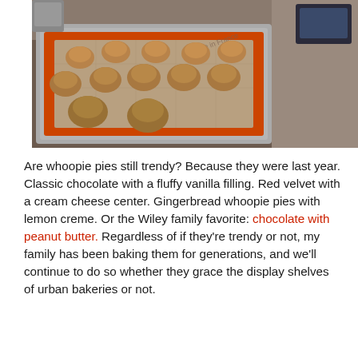[Figure (photo): Photo of cookie dough balls on an orange-rimmed silicone baking mat (branded 'made in France') placed on a metal baking sheet, sitting on a kitchen counter. There are about 12 rounded cookie dough portions arranged in rows.]
Are whoopie pies still trendy? Because they were last year. Classic chocolate with a fluffy vanilla filling. Red velvet with a cream cheese center. Gingerbread whoopie pies with lemon creme. Or the Wiley family favorite: chocolate with peanut butter. Regardless of if they're trendy or not, my family has been baking them for generations, and we'll continue to do so whether they grace the display shelves of urban bakeries or not.